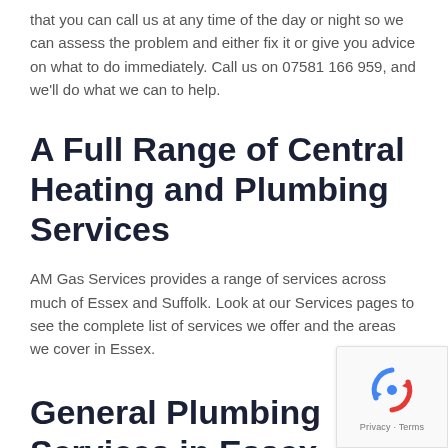that you can call us at any time of the day or night so we can assess the problem and either fix it or give you advice on what to do immediately. Call us on 07581 166 959, and we'll do what we can to help.
A Full Range of Central Heating and Plumbing Services
AM Gas Services provides a range of services across much of Essex and Suffolk. Look at our Services pages to see the complete list of services we offer and the areas we cover in Essex.
General Plumbing Services in Essex